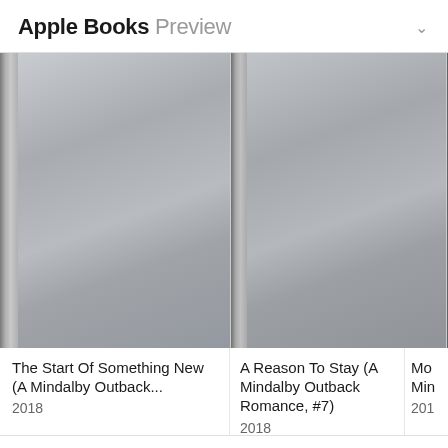Apple Books Preview
[Figure (illustration): Three book covers displayed horizontally. First two are grey/silver placeholder covers. Third is partially visible with a scenic outdoor image and a circular loading indicator.]
The Start Of Something New (A Mindalby Outback...
2018
A Reason To Stay (A Mindalby Outback Romance, #7)
2018
Mo...
Min...
201...